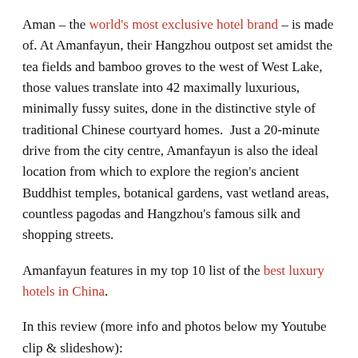Aman – the world's most exclusive hotel brand – is made of. At Amanfayun, their Hangzhou outpost set amidst the tea fields and bamboo groves to the west of West Lake, those values translate into 42 maximally luxurious, minimally fussy suites, done in the distinctive style of traditional Chinese courtyard homes.  Just a 20-minute drive from the city centre, Amanfayun is also the ideal location from which to explore the region's ancient Buddhist temples, botanical gardens, vast wetland areas, countless pagodas and Hangzhou's famous silk and shopping streets.
Amanfayun features in my top 10 list of the best luxury hotels in China.
In this review (more info and photos below my Youtube clip & slideshow):
Pros & things I like
Cons & things to know
My verdict